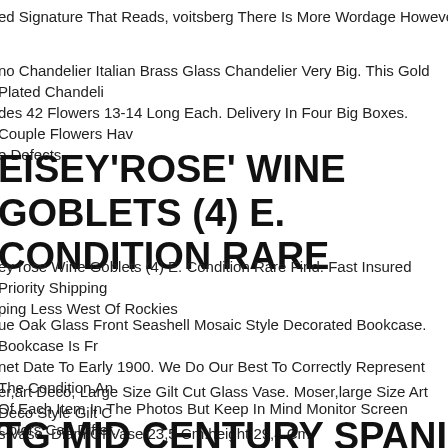ed Signature That Reads, voitsberg There Is More Wordage However I Can Not R
no Chandelier Italian Brass Glass Chandelier Very Big. This Gold Plated Chandeli des 42 Flowers 13-14 Long Each. Delivery In Four Big Boxes. Couple Flowers Hav e Defects
EISEY'ROSE' WINE GOBLETS (4) E. CONDITION RARE
ey rose Wine Goblets (4) E. Condition Rare Find. Fast Insured Priority Shipping ping Less West Of Rockies
ue Oak Glass Front Seashell Mosaic Style Decorated Bookcase. Bookcase Is Fr net Date To Early 1900. We Do Our Best To Correctly Represent The Condition An Of Each Item In The Photos But Keep In Mind Monitor Screen Colors Can Differ.
er,art Deco, Large Size Gilt Cut Glass Vase. Moser,large Size Art Deco Style Gilt C s Vase. Diam Of Vase 23,5 Cm.height 29,4 Cm.
TG MID CENTURY SPANISH GILDED